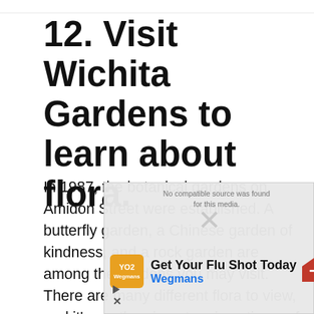12. Visit Wichita Gardens to learn about flora.
In 1987, the botanical gardens on Amidon Street were established. A butterfly garden, a Chinese garden of kindness, and a rock garden are among the gardens you may visit. There are many different flora to view, and it’s worth going at various times of year to watch how the gardens change. Every
[Figure (other): Advertisement overlay: Wegmans 'Get Your Flu Shot Today' ad with orange logo, arrow icon, play and close buttons. Video player overlay showing 'No compatible source was found for this media' message.]